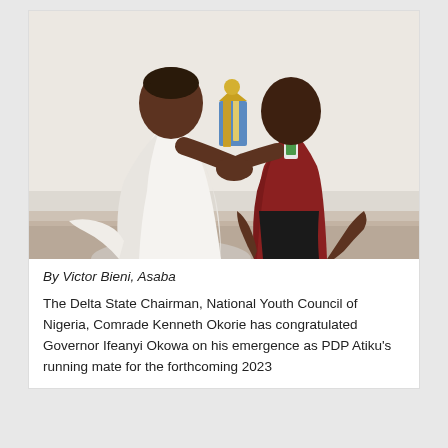[Figure (photo): Two men shaking hands and holding an award/plaque. The man on the left is wearing a white traditional robe (kaftan/agbada). The man on the right is wearing a dark red/maroon polo shirt and has an ID badge around his neck. They appear to be in an indoor setting with a light-colored wall behind them.]
By Victor Bieni, Asaba
The Delta State Chairman, National Youth Council of Nigeria, Comrade Kenneth Okorie has congratulated Governor Ifeanyi Okowa on his emergence as PDP Atiku's running mate for the forthcoming 2023